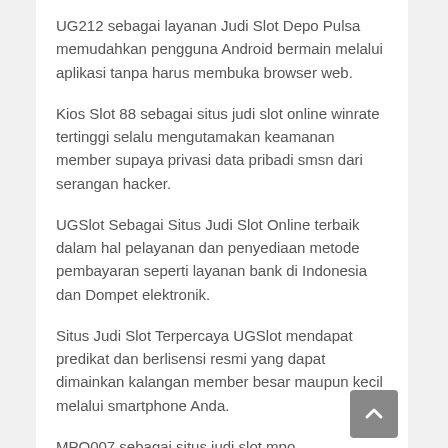UG212 sebagai layanan Judi Slot Depo Pulsa memudahkan pengguna Android bermain melalui aplikasi tanpa harus membuka browser web.
Kios Slot 88 sebagai situs judi slot online winrate tertinggi selalu mengutamakan keamanan member supaya privasi data pribadi smsn dari serangan hacker.
UGSlot Sebagai Situs Judi Slot Online terbaik dalam hal pelayanan dan penyediaan metode pembayaran seperti layanan bank di Indonesia dan Dompet elektronik.
Situs Judi Slot Terpercaya UGSlot mendapat predikat dan berlisensi resmi yang dapat dimainkan kalangan member besar maupun kecil melalui smartphone Anda.
MPO007 sebagai situs judi slot mpo menyediakan panduan permainan yang sangat lengkap untuk anda apabila anda merasa kurang paham dengan